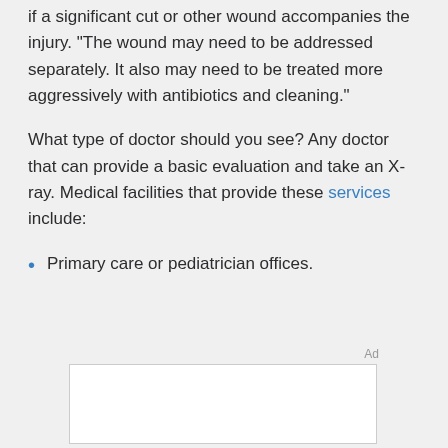if a significant cut or other wound accompanies the injury. “The wound may need to be addressed separately. It also may need to be treated more aggressively with antibiotics and cleaning.”
What type of doctor should you see? Any doctor that can provide a basic evaluation and take an X-ray. Medical facilities that provide these services include:
Primary care or pediatrician offices.